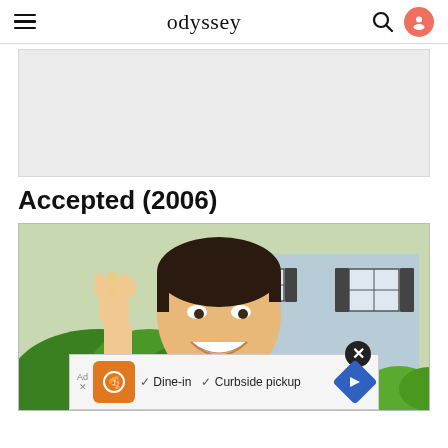odyssey
[Figure (other): Gray advertisement placeholder rectangle]
Accepted (2006)
[Figure (photo): Movie still from Accepted (2006): a young smiling man with dark hair raising his fist in celebration, standing in front of a house with green bushes and black shutters]
Ad overlay: Dine-in · Curbside pickup